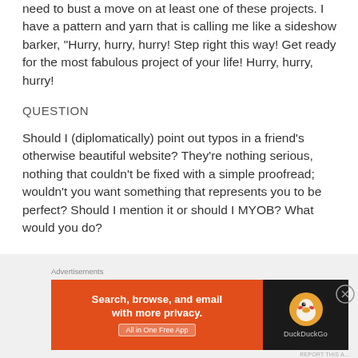need to bust a move on at least one of these projects. I have a pattern and yarn that is calling me like a sideshow barker, "Hurry, hurry, hurry!  Step right this way!  Get ready for the most fabulous project of your life!  Hurry, hurry, hurry!
QUESTION
Should I (diplomatically) point out typos in a friend's otherwise beautiful website?  They're nothing serious, nothing that couldn't be fixed with a simple proofread; wouldn't you want something that represents you to be perfect?  Should I mention it or should I MYOB?  What would you do?
[Figure (other): DuckDuckGo advertisement banner: orange left panel with text 'Search, browse, and email with more privacy. All in One Free App', dark right panel with DuckDuckGo duck logo and brand name.]